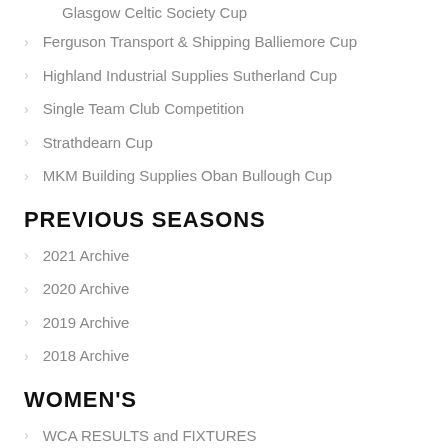Glasgow Celtic Society Cup
Ferguson Transport & Shipping Balliemore Cup
Highland Industrial Supplies Sutherland Cup
Single Team Club Competition
Strathdearn Cup
MKM Building Supplies Oban Bullough Cup
PREVIOUS SEASONS
2021 Archive
2020 Archive
2019 Archive
2018 Archive
WOMEN'S
WCA RESULTS and FIXTURES
WCA Competitions